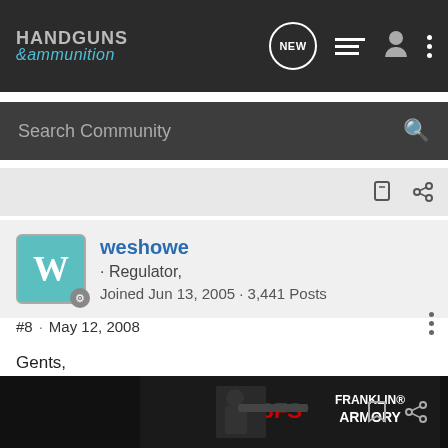HANDGUNS &ammunition
Search Community
weshowe · Regulator,
Joined Jun 13, 2005 · 3,441 Posts
#8 · May 12, 2008
Gents,

I think that the metric designation for .45 ACP is 11.25 X 25mm.

Wes
[Figure (photo): Franklin Armory advertisement banner showing a person shooting a rifle with Franklin Armory logo and BFS branding]